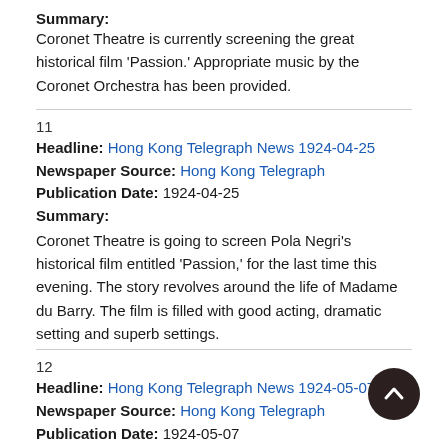Summary: Coronet Theatre is currently screening the great historical film 'Passion.' Appropriate music by the Coronet Orchestra has been provided.
11
Headline: Hong Kong Telegraph News 1924-04-25
Newspaper Source: Hong Kong Telegraph
Publication Date: 1924-04-25
Summary:
Coronet Theatre is going to screen Pola Negri's historical film entitled 'Passion,' for the last time this evening. The story revolves around the life of Madame du Barry. The film is filled with good acting, dramatic setting and superb settings.
12
Headline: Hong Kong Telegraph News 1924-05-07
Newspaper Source: Hong Kong Telegraph
Publication Date: 1924-05-07
Summary:
Local cinema-goers have their last chance this evening of seeing...